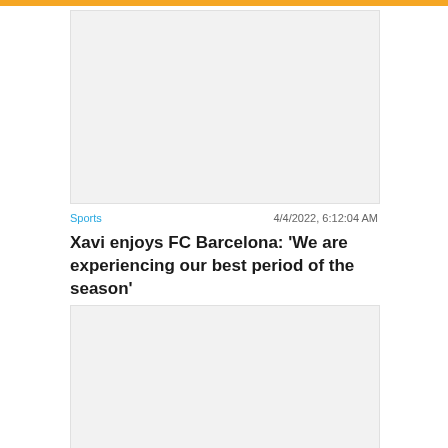[Figure (photo): Top image placeholder — light gray rectangle representing a news article image]
Sports   4/4/2022, 6:12:04 AM
Xavi enjoys FC Barcelona: 'We are experiencing our best period of the season'
[Figure (photo): Bottom image placeholder — light gray rectangle with a Close X button overlay]